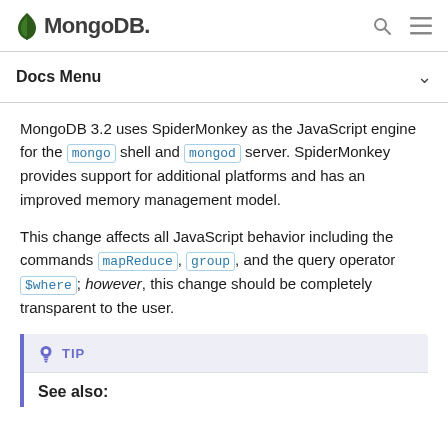MongoDB
Docs Menu
MongoDB 3.2 uses SpiderMonkey as the JavaScript engine for the mongo shell and mongod server. SpiderMonkey provides support for additional platforms and has an improved memory management model.
This change affects all JavaScript behavior including the commands mapReduce, group, and the query operator $where; however, this change should be completely transparent to the user.
TIP
See also: